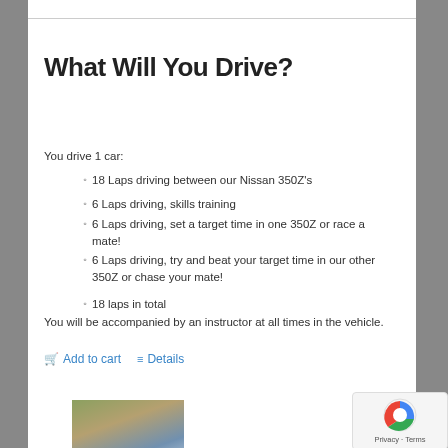What Will You Drive?
You drive 1 car:
18 Laps driving between our Nissan 350Z's
6 Laps driving, skills training
6 Laps driving, set a target time in one 350Z or race a mate!
6 Laps driving, try and beat your target time in our other 350Z or chase your mate!
18 laps in total
You will be accompanied by an instructor at all times in the vehicle.
Add to cart   Details
Luxury Resort Break